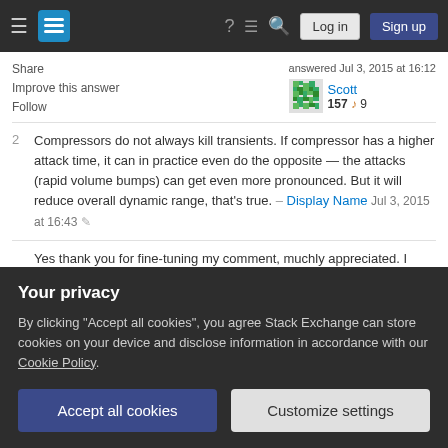Stack Exchange navigation bar with Log in and Sign up buttons
Share
Improve this answer
Follow
answered Jul 3, 2015 at 16:12
Scott
157 🎵 9
2 Compressors do not always kill transients. If compressor has a higher attack time, it can in practice even do the opposite — the attacks (rapid volume bumps) can get even more pronounced. But it will reduce overall dynamic range, that's true.
– Display Name Jul 3, 2015 at 16:43 ✏
Yes thank you for fine-tuning my comment, muchly appreciated. I never thought to add that in! – Scott Jul
Your privacy
By clicking "Accept all cookies", you agree Stack Exchange can store cookies on your device and disclose information in accordance with our Cookie Policy.
Accept all cookies
Customize settings